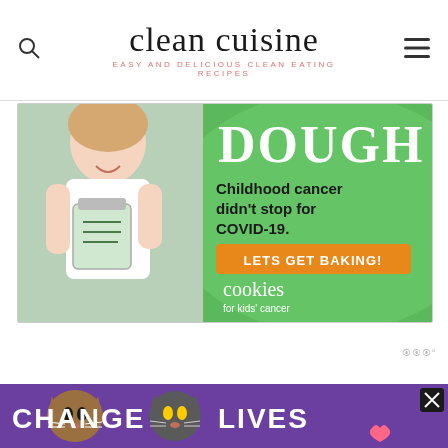clean cuisine — EASY AND DELICIOUS CLEAN EATING RECIPES
[Figure (photo): Advertisement banner: Green background with a child holding a jar of money. Text reads 'DOUGH', 'Childhood cancer didn't stop for COVID-19.', 'LETS GET BAKING!', 'cookies for kids' cancer']
Recipe for Cornbread M... Seeds
[Figure (photo): Bottom advertisement bar: Purple background showing CHANGE LIVES text with cats, with close button]